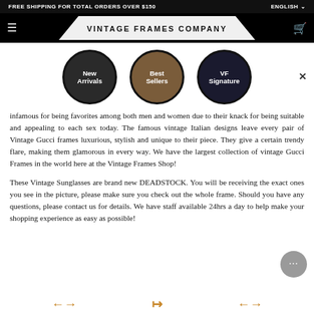FREE SHIPPING FOR TOTAL ORDERS OVER $150
VINTAGE FRAMES COMPANY
[Figure (illustration): Three circular category navigation buttons: New Arrivals (dark background with person silhouette), Best Sellers (brown/amber background with hand), VF Signature (dark background with colorful dots/gems)]
infamous for being favorites among both men and women due to their knack for being suitable and appealing to each sex today. The famous vintage Italian designs leave every pair of Vintage Gucci frames luxurious, stylish and unique to their piece. They give a certain trendy flare, making them glamorous in every way. We have the largest collection of vintage Gucci Frames in the world here at the Vintage Frames Shop!
These Vintage Sunglasses are brand new DEADSTOCK. You will be receiving the exact ones you see in the picture, please make sure you check out the whole frame. Should you have any questions, please contact us for details. We have staff available 24hrs a day to help make your shopping experience as easy as possible!